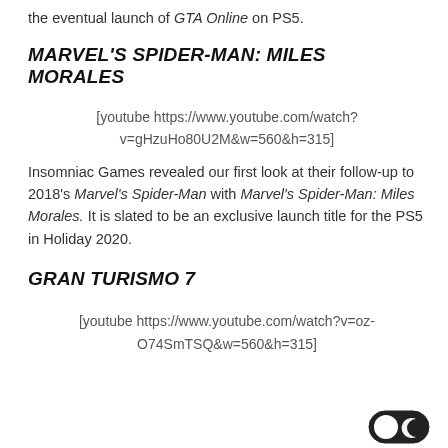the eventual launch of GTA Online on PS5.
MARVEL'S SPIDER-MAN: MILES MORALES
[youtube https://www.youtube.com/watch?v=gHzuHo80U2M&w=560&h=315]
Insomniac Games revealed our first look at their follow-up to 2018's Marvel's Spider-Man with Marvel's Spider-Man: Miles Morales. It is slated to be an exclusive launch title for the PS5 in Holiday 2020.
GRAN TURISMO 7
[youtube https://www.youtube.com/watch?v=oz-O74SmTSQ&w=560&h=315]